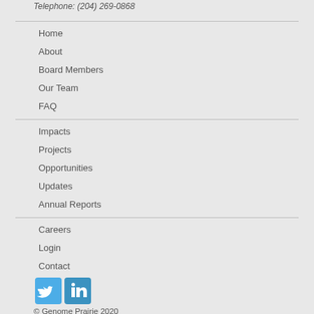Telephone: (204) 269-0868
Home
About
Board Members
Our Team
FAQ
Impacts
Projects
Opportunities
Updates
Annual Reports
Careers
Login
Contact
[Figure (logo): Twitter and LinkedIn social media icons]
© Genome Prairie 2020